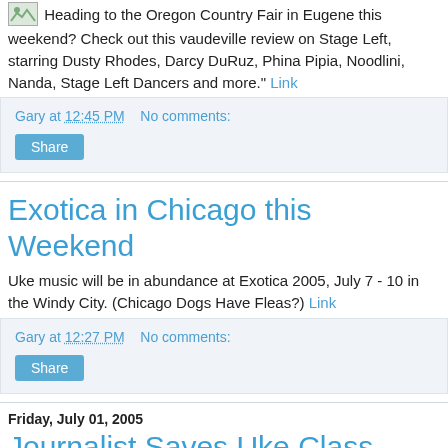Heading to the Oregon Country Fair in Eugene this weekend? Check out this vaudeville review on Stage Left, starring Dusty Rhodes, Darcy DuRuz, Phina Pipia, Noodlini, Nanda, Stage Left Dancers and more." Link
Gary at 12:45 PM   No comments:
Share
Exotica in Chicago this Weekend
Uke music will be in abundance at Exotica 2005, July 7 - 10 in the Windy City. (Chicago Dogs Have Fleas?) Link
Gary at 12:27 PM   No comments:
Share
Friday, July 01, 2005
Journalist Saves Uke Class